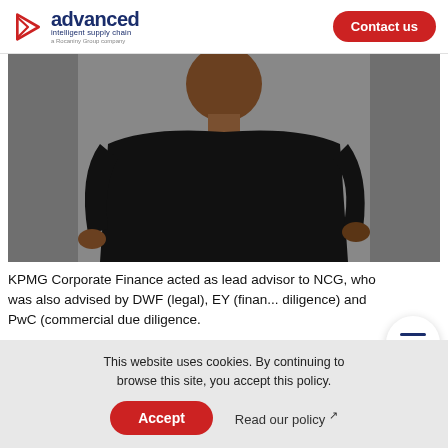advanced intelligent supply chain — a Rocaniny Group company | Contact us
[Figure (photo): Person wearing a black outfit photographed against a light grey background, upper body/torso visible]
KPMG Corporate Finance acted as lead advisor to NCG, who was also advised by DWF (legal), EY (financial due diligence) and PwC (commercial due diligence).
Giles Taylor, Corporate Finance Partner at KPMG
This website uses cookies. By continuing to browse this site, you accept this policy.